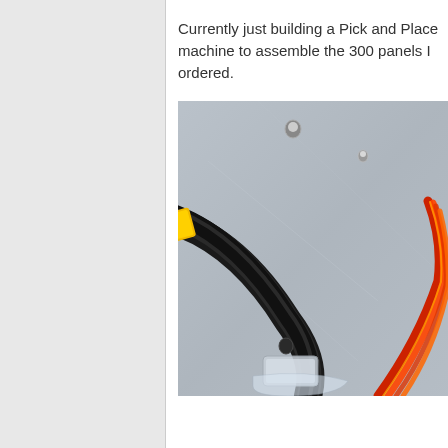Currently just building a Pick and Place machine to assemble the 300 panels I ordered.
[Figure (photo): Photo of cables and wiring components on a grey metallic surface. A bundle of black cables with a yellow connector is visible on the left, and orange/red ribbon cables are visible on the right side.]